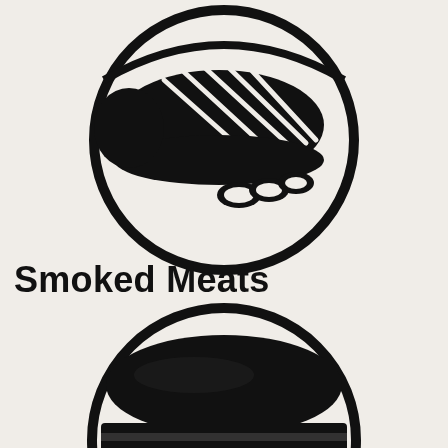[Figure (illustration): Black and white circular icon showing smoked ribs/meat with small oval shapes (pebbles or garnish) at the bottom, styled as a bold graphic emblem]
Smoked Meats
[Figure (illustration): Black and white circular icon showing a sandwich or sub with layers of meat and toppings, partially cropped at the bottom, styled as a bold graphic emblem]